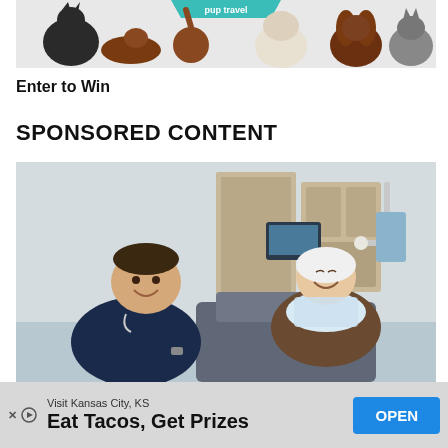[Figure (photo): Banner image showing multiple dogs of various breeds against a white background, with a teal/green banner element visible at top center.]
Enter to Win
SPONSORED CONTENT
[Figure (photo): Photo of a smiling male dental professional in navy scrubs sitting next to an elderly female patient in a dental chair with a bib, both laughing, in a modern dental office setting.]
Visit Kansas City, KS
Eat Tacos, Get Prizes